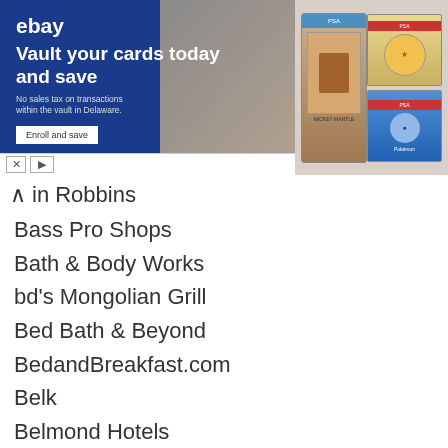[Figure (other): eBay advertisement banner: 'Vault your cards today and save' with card images on the right]
in Robbins
Bass Pro Shops
Bath & Body Works
bd's Mongolian Grill
Bed Bath & Beyond
BedandBreakfast.com
Belk
Belmond Hotels
Benihana
Bertucci's
Best Buy
Best Of Italy
Best Western
Bibibop